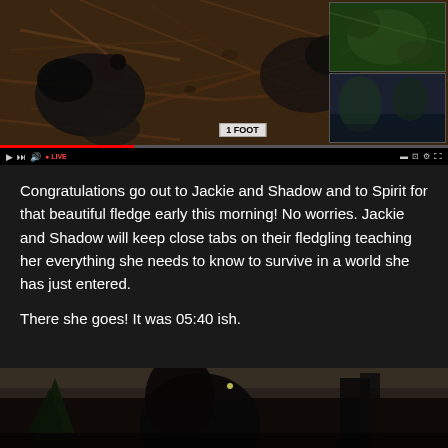[Figure (screenshot): Video player screenshot showing eagle nest camera footage with two eaglets visible on a nest made of sticks and twigs. A '1 FOOT' scale bar is visible. Two picture-in-picture insets appear in the top-right and bottom-right corners. Video player controls are visible at the bottom with a red progress bar and 'LIVE' label.]
Congratulations go out to Jackie and Shadow and to Spirit for that beautiful fledge early this morning! No worries. Jackie and Shadow will keep close tabs on their fledgling teaching her everything she needs to know to survive in a world she has just entered.
There she goes! It was 05:40 ish.
[Figure (photo): Close-up photo at the bottom of the page showing dark silhouettes, likely an eagle against a light sky background with trees visible.]